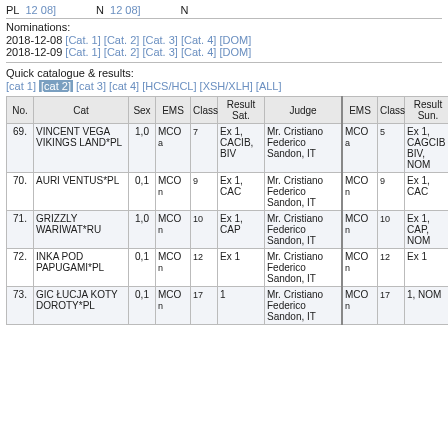PL  12 08]  N  12 08]  N
Nominations:
2018-12-08 [Cat. 1] [Cat. 2] [Cat. 3] [Cat. 4] [DOM]
2018-12-09 [Cat. 1] [Cat. 2] [Cat. 3] [Cat. 4] [DOM]
Quick catalogue & results:
[cat 1] [cat 2] [cat 3] [cat 4] [HCS/HCL] [XSH/XLH] [ALL]
| No. | Cat | Sex | EMS | Class | Result Sat. | Judge | EMS | Class | Result Sun. |
| --- | --- | --- | --- | --- | --- | --- | --- | --- | --- |
| 69. | VINCENT VEGA VIKINGS LAND*PL | 1,0 | MCO a | 7 | Ex 1, CACIB, BIV | Mr. Cristiano Federico Sandon, IT | MCO a | 5 | Ex 1, CAGCIB BIV, NOM |
| 70. | AURI VENTUS*PL | 0,1 | MCO n | 9 | Ex 1, CAC | Mr. Cristiano Federico Sandon, IT | MCO n | 9 | Ex 1, CAC |
| 71. | GRIZZLY WARIWAT*RU | 1,0 | MCO n | 10 | Ex 1, CAP | Mr. Cristiano Federico Sandon, IT | MCO n | 10 | Ex 1, CAP, NOM |
| 72. | INKA POD PAPUGAMI*PL | 0,1 | MCO n | 12 | Ex 1 | Mr. Cristiano Federico Sandon, IT | MCO n | 12 | Ex 1 |
| 73. | GIC ŁUCJA KOTY DOROTY*PL | 0,1 | MCO n | 17 | 1 | Mr. Cristiano Federico Sandon, IT | MCO n | 17 | 1, NOM |